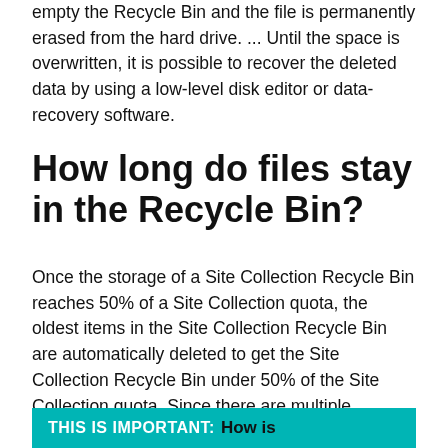empty the Recycle Bin and the file is permanently erased from the hard drive. ... Until the space is overwritten, it is possible to recover the deleted data by using a low-level disk editor or data-recovery software.
How long do files stay in the Recycle Bin?
Once the storage of a Site Collection Recycle Bin reaches 50% of a Site Collection quota, the oldest items in the Site Collection Recycle Bin are automatically deleted to get the Site Collection Recycle Bin under 50% of the Site Collection quota. Since there are multiple Recycle Bins within SharePoint.
THIS IS IMPORTANT: How is